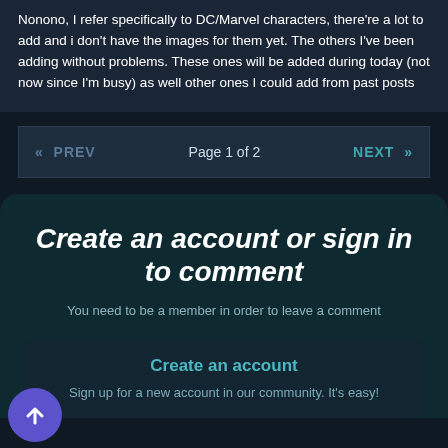Nonono, I refer specifically to DC/Marvel characters, there're a lot to add and i don't have the images for them yet. The others I've been adding without problems. These ones will be added during today (not now since I'm busy) as well other ones I could add from past posts
« PREV   Page 1 of 2   NEXT »
Create an account or sign in to comment
You need to be a member in order to leave a comment
Create an account
Sign up for a new account in our community. It's easy!